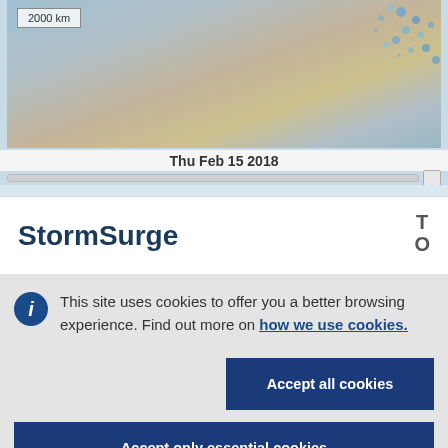[Figure (map): Satellite or radar map showing Australia with precipitation overlay (blue/teal dots in northeastern region), with a 2000 km scale bar in the top-left corner.]
Thu Feb 15 2018
StormSurge
T
O
This site uses cookies to offer you a better browsing experience. Find out more on how we use cookies.
Accept all cookies
Accept only essential cookies